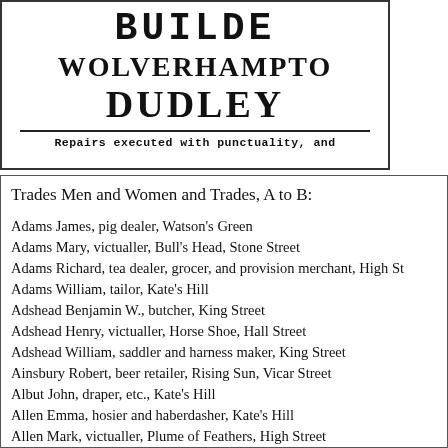[Figure (other): Header advertisement for a builder in Wolverhampton/Dudley area with decorative typography]
Repairs executed with punctuality, and
Trades Men and Women and Trades, A to B:
Adams James, pig dealer, Watson's Green
Adams Mary, victualler, Bull's Head, Stone Street
Adams Richard, tea dealer, grocer, and provision merchant, High St
Adams William, tailor, Kate's Hill
Adshead Benjamin W., butcher, King Street
Adshead Henry, victualler, Horse Shoe, Hall Street
Adshead William, saddler and harness maker, King Street
Ainsbury Robert, beer retailer, Rising Sun, Vicar Street
Albut John, draper, etc., Kate's Hill
Allen Emma, hosier and haberdasher, Kate's Hill
Allen Mark, victualler, Plume of Feathers, High Street
Allen Thomas, printer and stationer; Registrar of Births and Deaths,
Allson Samuel, plasterer and colourer, Stafford Street